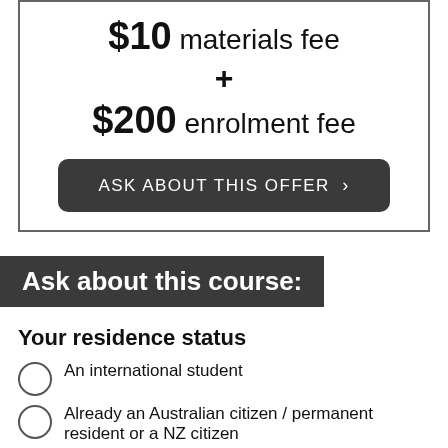$10 materials fee
+
$200 enrolment fee
ASK ABOUT THIS OFFER ›
Ask about this course:
Your residence status
An international student
Already an Australian citizen / permanent resident or a NZ citizen
Your contact details